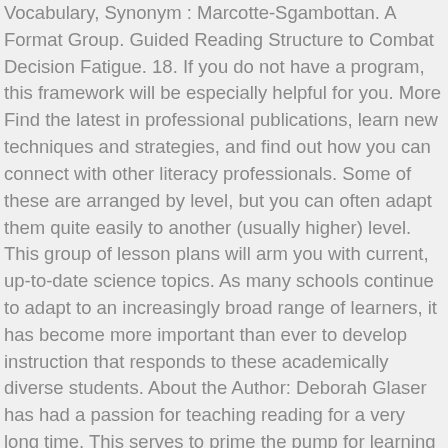Vocabulary, Synonym : Marcotte-Sgambottan. A Format Group. Guided Reading Structure to Combat Decision Fatigue. 18. If you do not have a program, this framework will be especially helpful for you. More Find the latest in professional publications, learn new techniques and strategies, and find out how you can connect with other literacy professionals. Some of these are arranged by level, but you can often adapt them quite easily to another (usually higher) level. This group of lesson plans will arm you with current, up-to-date science topics. As many schools continue to adapt to an increasingly broad range of learners, it has become more important than ever to develop instruction that responds to these academically diverse students. About the Author: Deborah Glaser has had a passion for teaching reading for a very long time. This serves to prime the pump for learning something new. The lesson plan moves at a quick pace with constant interaction between teacher and student. I might decide that I'm going to need 10-15 minutes with a small group to reteach a lesson as shown in example A, but I will do this because I have a small group that needs